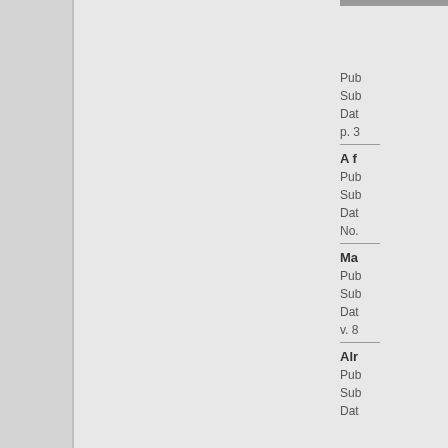Pub
Sub
Dat
p. 3
A f
Pub
Sub
Dat
No.
Ma
Pub
Sub
Dat
v. 8
Alr
Pub
Sub
Dat